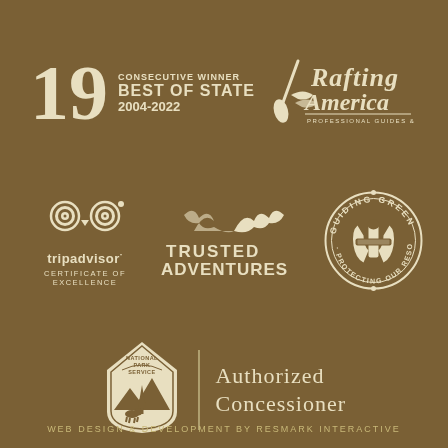[Figure (logo): 19 Consecutive Winner Best of State 2004-2022 badge]
[Figure (logo): Rafting America Professional Guides & Outfitters logo]
[Figure (logo): TripAdvisor Certificate of Excellence logo with owl icon]
[Figure (logo): Trusted Adventures logo with mountain/raft graphic]
[Figure (logo): Guiding Green - Protecting Our Resources circular badge]
[Figure (logo): National Park Service arrowhead logo with Authorized Concessioner text]
WEB DESIGN & DEVELOPMENT BY RESMARK INTERACTIVE